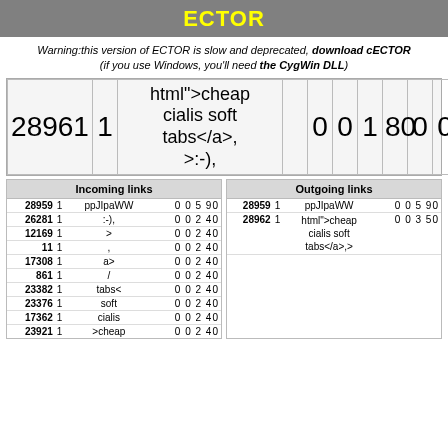ECTOR
Warning:this version of ECTOR is slow and deprecated, download cECTOR (if you use Windows, you'll need the CygWin DLL)
| 28961 | 1 | html">cheap cialis soft tabs</a>,
>:-), |  | 0 | 0 | 1 | 80 | 0 | 0 | 0 | 733 |
| Incoming links | Outgoing links |
| --- | --- |
| 28959 | 1 | ppJIpaWW | 0 0 5 90 | 28959 | 1 | ppJIpaWW | 0 0 5 90 |
| 26281 | 1 | :-), | 0 0 2 40 |  |  | html">cheap cialis soft tabs</a>,> |  |
| 12169 | 1 | > | 0 0 2 40 | 28962 | 1 | html">cheap cialis soft tabs</a>,> | 0 0 3 50 |
| 11 | 1 | , | 0 0 2 40 |  |  |  |  |
| 17308 | 1 | a> | 0 0 2 40 |  |  |  |  |
| 861 | 1 | / | 0 0 2 40 |  |  |  |  |
| 23382 | 1 | tabs< | 0 0 2 40 |  |  |  |  |
| 23376 | 1 | soft | 0 0 2 40 |  |  |  |  |
| 17362 | 1 | cialis | 0 0 2 40 |  |  |  |  |
| 23921 | 1 | >cheap | 0 0 2 40 |  |  |  |  |